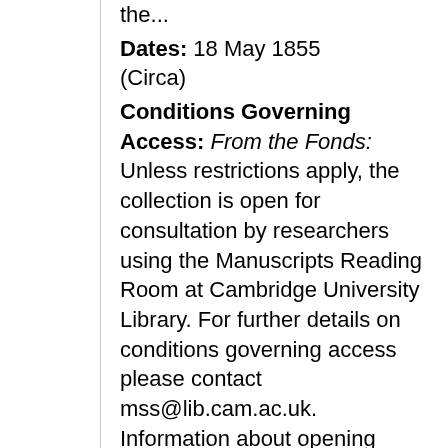the...
Dates: 18 May 1855 (Circa)
Conditions Governing Access: From the Fonds: Unless restrictions apply, the collection is open for consultation by researchers using the Manuscripts Reading Room at Cambridge University Library. For further details on conditions governing access please contact mss@lib.cam.ac.uk. Information about opening hours and obtaining a Cambridge University Library reader's ticket is available from the Library's website